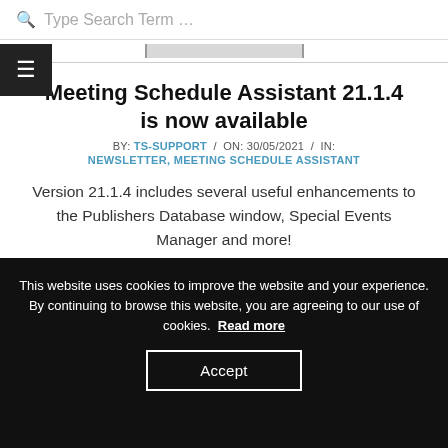Type Search Term …
Meeting Schedule Assistant 21.1.4 is now available
BY: TS-SUPPORT / ON: 30/05/2021 / IN: NEWSLETTER, MEETING SCHEDULE ASSISTANT
Version 21.1.4 includes several useful enhancements to the Publishers Database window, Special Events Manager and more!
This website uses cookies to improve the website and your experience. By continuing to browse this website, you are agreeing to our use of cookies. Read more
Accept